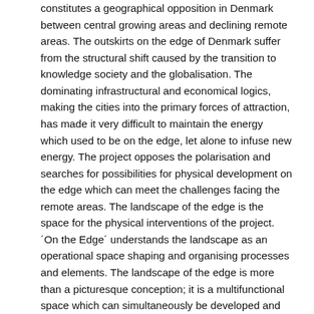constitutes a geographical opposition in Denmark between central growing areas and declining remote areas. The outskirts on the edge of Denmark suffer from the structural shift caused by the transition to knowledge society and the globalisation. The dominating infrastructural and economical logics, making the cities into the primary forces of attraction, has made it very difficult to maintain the energy which used to be on the edge, let alone to infuse new energy. The project opposes the polarisation and searches for possibilities for physical development on the edge which can meet the challenges facing the remote areas. The landscape of the edge is the space for the physical interventions of the project. ´On the Edge´ understands the landscape as an operational space shaping and organising processes and elements. The landscape of the edge is more than a picturesque conception; it is a multifunctional space which can simultaneously be developed and utilised, as well as protected and sustained. Methodology The project is carried out along two tracks: an explorative journey on the edge and a perspective overview. The journey is undertaken in a field of exploration, demarcated by a day-long journey on the edge. The explorative process recognises intuitive, impulsive and narrative conceptions and seeks to unfold the edge for new readings which can challenge the established perceptions. The overview track treats the framing conditions of the material that we move through. With this track we seek to position the experienced reality on the edge in its greater strategic context. In close relationship with the field experiences and with the result of the empirical analysis, we have employed processes of conceptual design which facilitate a simultaneous and dynamic work